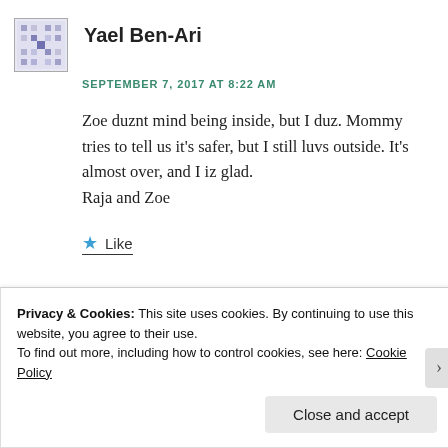Yael Ben-Ari
SEPTEMBER 7, 2017 AT 8:22 AM
Zoe duznt mind being inside, but I duz. Mommy tries to tell us it's safer, but I still luvs outside. It's almost over, and I iz glad.
Raja and Zoe
Like
[Figure (photo): Partial view of several small thumbnail photos of people's faces and a blue button]
Privacy & Cookies: This site uses cookies. By continuing to use this website, you agree to their use.
To find out more, including how to control cookies, see here: Cookie Policy
Close and accept